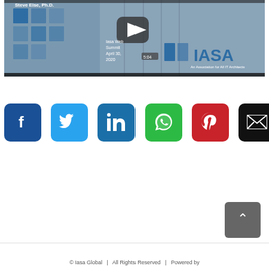[Figure (screenshot): Video thumbnail showing IASA Web Summit April 30 2020, with Steve Else Ph.D. title, blue tile decorations, play button, IASA logo, and 5:04 duration badge]
[Figure (infographic): Row of six social media share buttons: Facebook (blue), Twitter (light blue), LinkedIn (blue), WhatsApp (green), Pinterest (red), Email (black)]
© Iasa Global  |  All Rights Reserved  |  Powered by